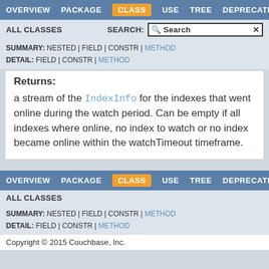OVERVIEW  PACKAGE  CLASS  USE  TREE  DEPRECATED
ALL CLASSES   SEARCH:
SUMMARY: NESTED | FIELD | CONSTR | METHOD
DETAIL: FIELD | CONSTR | METHOD
Returns:
a stream of the IndexInfo for the indexes that went online during the watch period. Can be empty if all indexes where online, no index to watch or no index became online within the watchTimeout timeframe.
OVERVIEW  PACKAGE  CLASS  USE  TREE  DEPRECATED
ALL CLASSES
SUMMARY: NESTED | FIELD | CONSTR | METHOD
DETAIL: FIELD | CONSTR | METHOD
Copyright © 2015 Couchbase, Inc.